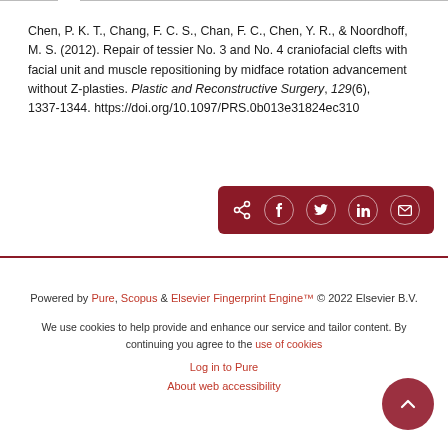Chen, P. K. T., Chang, F. C. S., Chan, F. C., Chen, Y. R., & Noordhoff, M. S. (2012). Repair of tessier No. 3 and No. 4 craniofacial clefts with facial unit and muscle repositioning by midface rotation advancement without Z-plasties. Plastic and Reconstructive Surgery, 129(6), 1337-1344. https://doi.org/10.1097/PRS.0b013e31824ec310
[Figure (other): Social share buttons bar with icons for share, Facebook, Twitter, LinkedIn, and email on dark red background]
Powered by Pure, Scopus & Elsevier Fingerprint Engine™ © 2022 Elsevier B.V.
We use cookies to help provide and enhance our service and tailor content. By continuing you agree to the use of cookies
Log in to Pure
About web accessibility